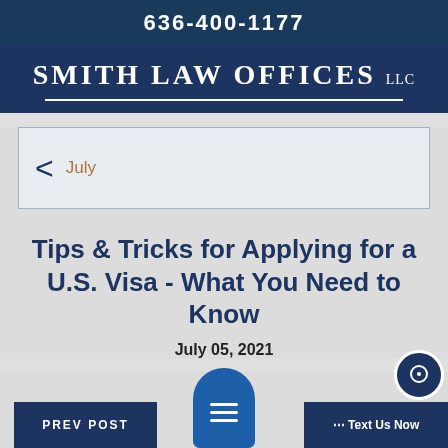636-400-1177
SMITH LAW OFFICES LLC
July
Tips & Tricks for Applying for a U.S. Visa - What You Need to Know
July 05, 2021
PREV POST
... Text Us Now